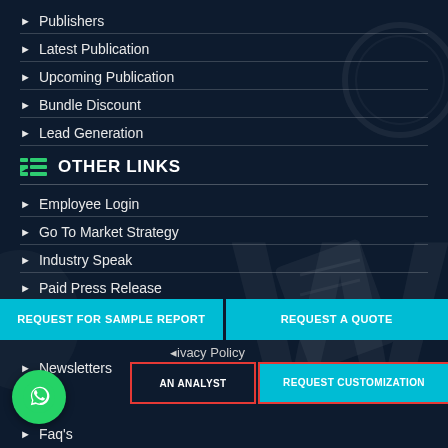▶ Publishers
▶ Latest Publication
▶ Upcoming Publication
▶ Bundle Discount
▶ Lead Generation
OTHER LINKS
▶ Employee Login
▶ Go To Market Strategy
▶ Industry Speak
▶ Paid Press Release
▶ Events
▶ Newsletters
REQUEST FOR SAMPLE REPORT
REQUEST A QUOTE
Privacy Policy
TALK TO AN ANALYST
REQUEST CUSTOMIZATION
▶ Faq's